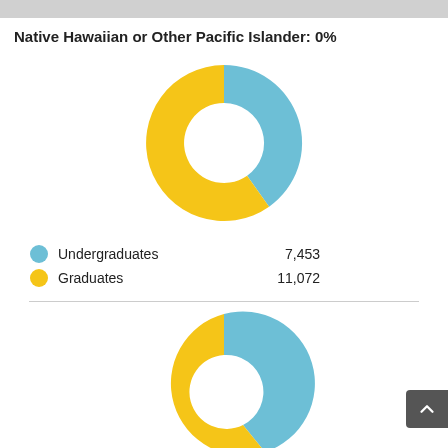Native Hawaiian or Other Pacific Islander: 0%
[Figure (donut-chart): Native Hawaiian or Other Pacific Islander: 0%]
Undergraduates   7,453
Graduates   11,072
[Figure (donut-chart): Second donut chart (partial)]